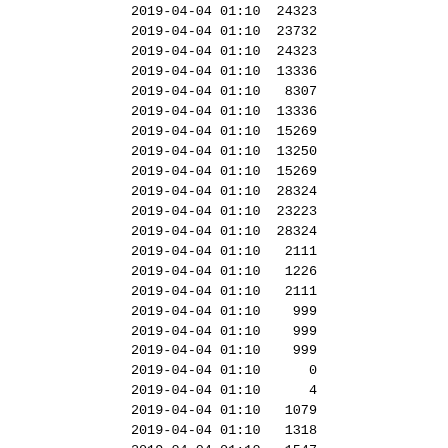| datetime | value |
| --- | --- |
| 2019-04-04 01:10 | 24323 |
| 2019-04-04 01:10 | 23732 |
| 2019-04-04 01:10 | 24323 |
| 2019-04-04 01:10 | 13336 |
| 2019-04-04 01:10 | 8307 |
| 2019-04-04 01:10 | 13336 |
| 2019-04-04 01:10 | 15269 |
| 2019-04-04 01:10 | 13250 |
| 2019-04-04 01:10 | 15269 |
| 2019-04-04 01:10 | 28324 |
| 2019-04-04 01:10 | 23223 |
| 2019-04-04 01:10 | 28324 |
| 2019-04-04 01:10 | 2111 |
| 2019-04-04 01:10 | 1226 |
| 2019-04-04 01:10 | 2111 |
| 2019-04-04 01:10 | 999 |
| 2019-04-04 01:10 | 999 |
| 2019-04-04 01:10 | 999 |
| 2019-04-04 01:10 | 0 |
| 2019-04-04 01:10 | 4 |
| 2019-04-04 01:10 | 1079 |
| 2019-04-04 01:10 | 1318 |
| 2019-04-04 01:10 | 1547 |
| 2019-04-04 01:10 | 7 |
| 2019-04-04 01:10 | 110 |
| 2019-04-04 01:10 | 0 |
| 2019-04-04 01:10 | 2391 |
| 2019-04-04 01:10 | 1079 |
| 2019-04-04 01:10 | 21384 |